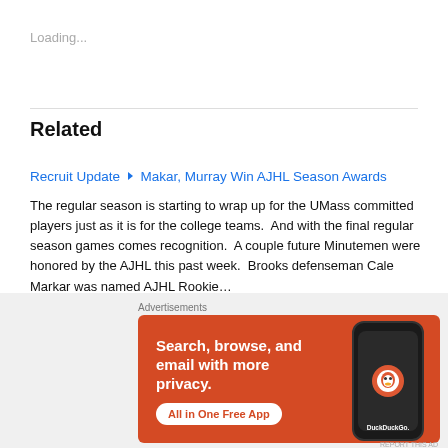Loading...
Related
Recruit Update ▲ Makar, Murray Win AJHL Season Awards
The regular season is starting to wrap up for the UMass committed players just as it is for the college teams.  And with the final regular season games comes recognition.  A couple future Minutemen were honored by the AJHL this past week.  Brooks defenseman Cale Markar was named AJHL Rookie…
March 1, 2016
In "Recruit Update"
Advertisements
[Figure (screenshot): DuckDuckGo advertisement: orange background with phone mockup showing DuckDuckGo logo. Text reads: Search, browse, and email with more privacy. All in One Free App. DuckDuckGo.]